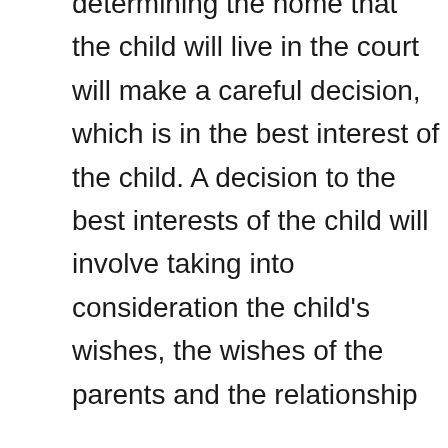determining the home that the child will live in the court will make a careful decision, which is in the best interest of the child. A decision to the best interests of the child will involve taking into consideration the child's wishes, the wishes of the parents and the relationship